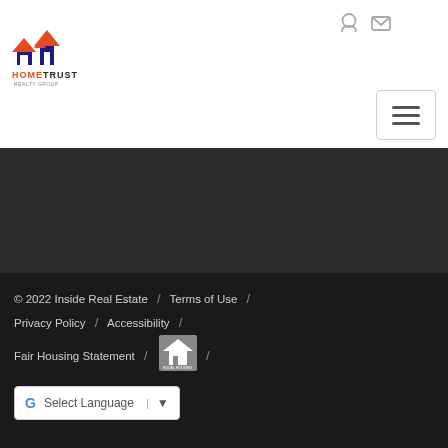[Figure (logo): HomeTrust Realty Group logo with orange house rooflines and text]
[Figure (logo): Hernando County Association of Realtors logo]
Association of Realtors, Inc. All rights reserved. Reproduction in whole or in part without permission is prohibited.
© 2022 Inside Real Estate / Terms of Use / Privacy Policy / Accessibility / Fair Housing Statement / [Equal Housing logo]
[Figure (other): Google Translate Select Language widget]